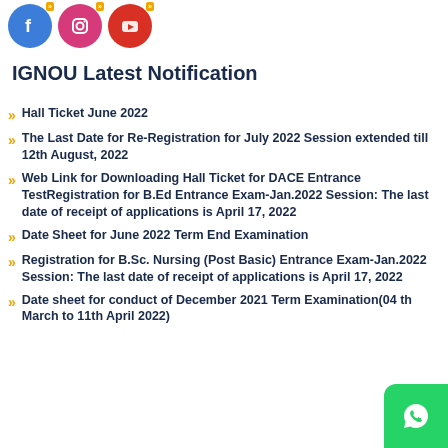[Figure (illustration): Social media icons for Facebook (blue), Instagram (pink), and YouTube (red) with orange arrow badges in top-right corners]
IGNOU Latest Notification
Hall Ticket June 2022
The Last Date for Re-Registration for July 2022 Session extended till 12th August, 2022
Web Link for Downloading Hall Ticket for DACE Entrance TestRegistration for B.Ed Entrance Exam-Jan.2022 Session: The last date of receipt of applications is April 17, 2022
Date Sheet for June 2022 Term End Examination
Registration for B.Sc. Nursing (Post Basic) Entrance Exam-Jan.2022 Session: The last date of receipt of applications is April 17, 2022
Date sheet for conduct of December 2021 Term Examination(04 th March to 11th April 2022)